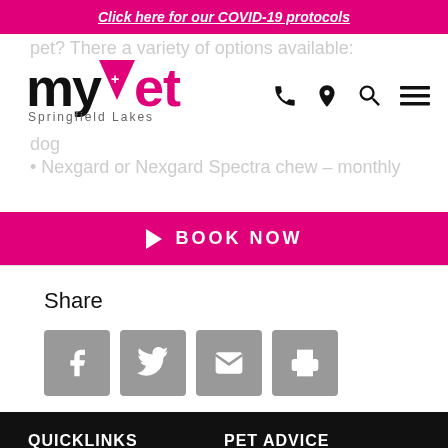Click here for our COVID-19 protocols
[Figure (logo): myvet Springfield Lakes logo with phone, location, search, and menu icons]
pet? There a variety of options available:
dog
• Nexgard or Nexgard Spectra chew – monthly
BOOK NOW
Share
[Figure (infographic): Share buttons: Facebook, Twitter, Email, Print]
QUICKLINKS
PET ADVICE
Meet Our Team
Pet Safe Series
Careers
Dogs